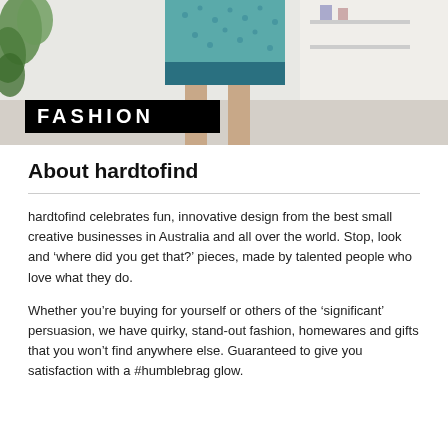[Figure (photo): Fashion photo showing a person wearing a teal/blue skirt with a patterned top, standing near a plant and white interior. A black banner with white bold text reads 'FASHION' overlaid on the lower portion of the image.]
About hardtofind
hardtofind celebrates fun, innovative design from the best small creative businesses in Australia and all over the world. Stop, look and ‘where did you get that?’ pieces, made by talented people who love what they do.
Whether you’re buying for yourself or others of the ‘significant’ persuasion, we have quirky, stand-out fashion, homewares and gifts that you won’t find anywhere else. Guaranteed to give you satisfaction with a #humblebrag glow.